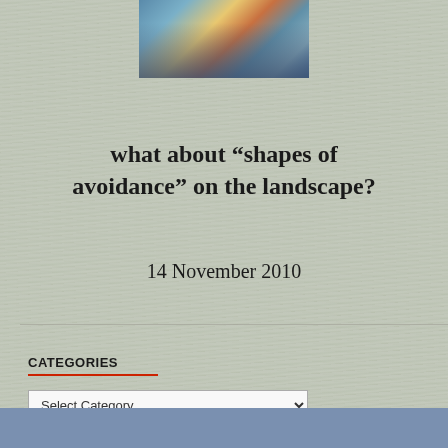[Figure (photo): Small cityscape/urban photo at top center showing buildings and waterfront]
what about “shapes of avoidance” on the landscape?
14 November 2010
CATEGORIES
Select Category